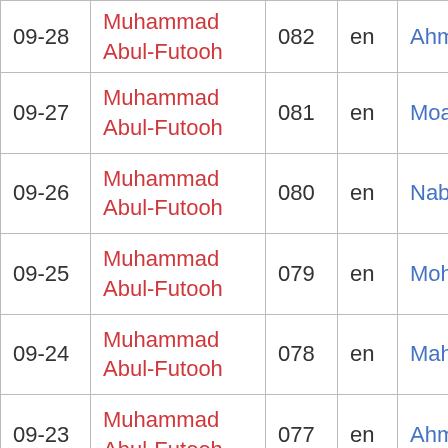| date | speaker | id | lang | reviewer |
| --- | --- | --- | --- | --- |
| 09-28 (partial) | Muhammad Abul-Futooh | 082 | en | Ahmed G... |
| 09-27 | Muhammad Abul-Futooh | 081 | en | Moataz M... |
| 09-26 | Muhammad Abul-Futooh | 080 | en | Nabil Ema... |
| 09-25 | Muhammad Abul-Futooh | 079 | en | Mohanad... |
| 09-24 | Muhammad Abul-Futooh | 078 | en | Mahmoud... |
| 09-23 | Muhammad Abul-Futooh | 077 | en | Ahmed Af... |
| 09-22 | Muhammad Abul-Futooh | 076 | en | Sherif Dal... |
| 10-11 | Lentokonefani | 80-2 | fi | Addiewell rautatieas... |